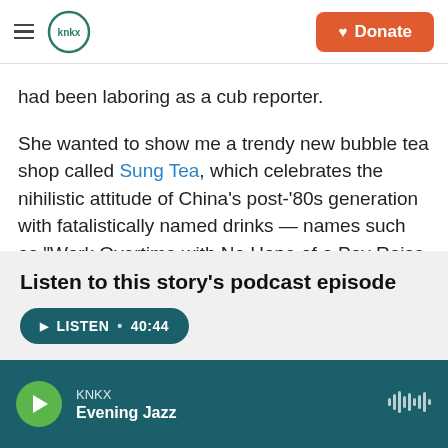KNKX | Donate
had been laboring as a cub reporter.
She wanted to show me a trendy new bubble tea shop called Sung Tea, which celebrates the nihilistic attitude of China's post-'80s generation with fatalistically named drinks — names such as "Work Overtime with No Hope of a Pay Raise Green Tea" (perhaps too on the nose that day) and "My Ex Is Doing Better Than Me Black Tea."
Listen to this story's podcast episode
LISTEN • 40:44
KNKX
Evening Jazz